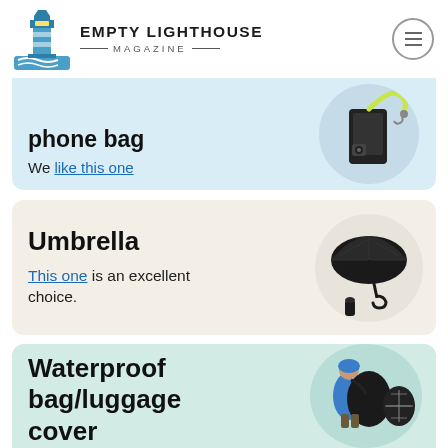EMPTY LIGHTHOUSE MAGAZINE
Waterproof phone bag
We like this one
Umbrella
This one is an excellent choice.
Waterproof bag/luggage cover
[Figure (photo): Waterproof phone case with yellow/green lanyard strap on light blue circular background]
[Figure (photo): Black compact folding umbrella shown open and folded on beige circular background]
[Figure (photo): Person wearing blue jacket with waterproof bag covers/luggage rain covers on mint green circular background]